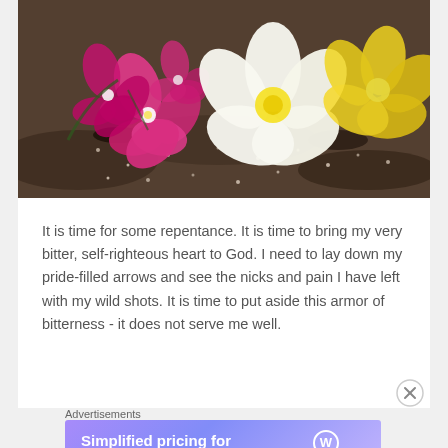[Figure (photo): Close-up photograph of pink orchid flowers and white/yellow plumeria flowers resting on dark rocky/sandy beach ground with small shells]
It is time for some repentance. It is time to bring my very bitter, self-righteous heart to God. I need to lay down my pride-filled arrows and see the nicks and pain I have left with my wild shots. It is time to put aside this armor of bitterness - it does not serve me well.
Advertisements
[Figure (screenshot): WordPress.com advertisement banner: 'Simplified pricing for everything you need.' with WordPress.com logo on purple/lavender gradient background]